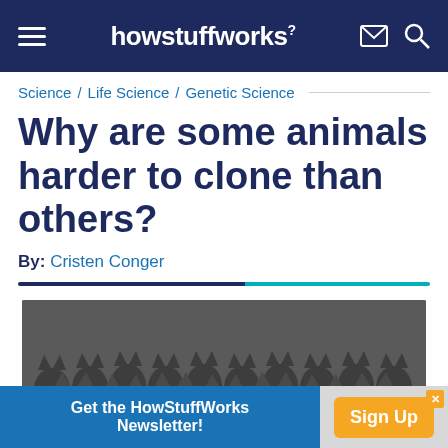howstuffworks
Science / Life Science / Genetic Science
Why are some animals harder to clone than others?
By: Cristen Conger
[Figure (photo): A large group of identical-looking dark-colored cats (Great Danes) posed together, illustrating animal cloning concept.]
Get the HowStuffWorks Newsletter! Sign Up